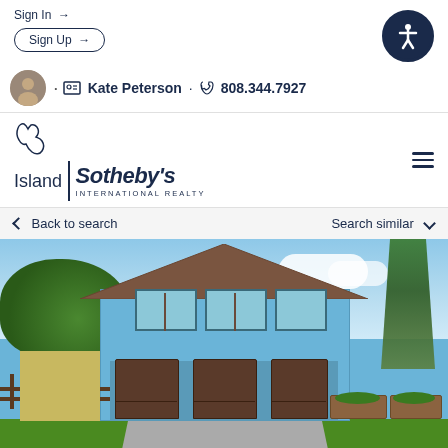Sign In →
Sign Up →
· Kate Peterson · 808.344.7927
[Figure (logo): Island Sotheby's International Realty logo with Hawaii island outline]
Back to search
Search similar
[Figure (photo): Front exterior photo of a two-story blue house with three garage doors, tropical landscaping including palm trees and large trees on either side, brown roof, and wooden raised garden beds in front]